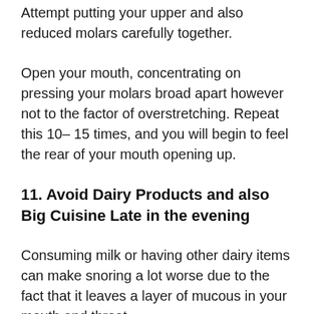Attempt putting your upper and also reduced molars carefully together.
Open your mouth, concentrating on pressing your molars broad apart however not to the factor of overstretching. Repeat this 10–15 times, and you will begin to feel the rear of your mouth opening up.
11. Avoid Dairy Products and also Big Cuisine Late in the evening
Consuming milk or having other dairy items can make snoring a lot worse due to the fact that it leaves a layer of mucous in your mouth and throat.
This mucous contributes to the obstruction of the air passages.